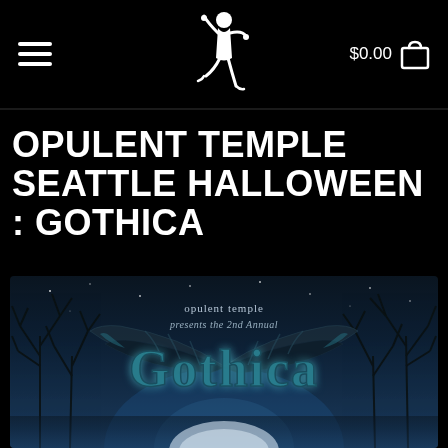$0.00
OPULENT TEMPLE SEATTLE HALLOWEEN : GOTHICA
[Figure (illustration): Gothic event poster for 'Opulent Temple presents the 2nd Annual Gothica' featuring stylized gothic lettering, dark wings, bare trees, and a moonlit night sky in blue tones.]